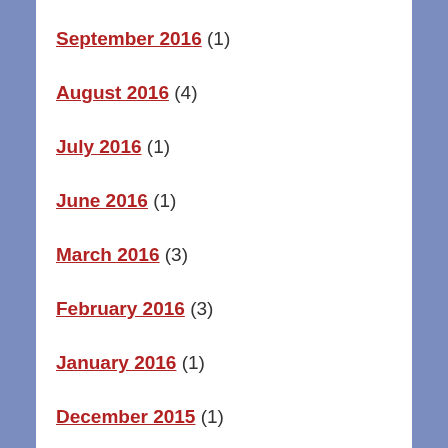September 2016 (1)
August 2016 (4)
July 2016 (1)
June 2016 (1)
March 2016 (3)
February 2016 (3)
January 2016 (1)
December 2015 (1)
November 2015 (2)
September 2015 (1)